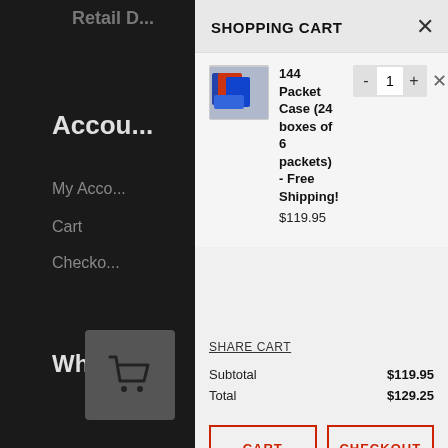SHOPPING CART
[Figure (other): Product image of 144 Packet Case (24 boxes of 6 packets)]
144 Packet Case (24 boxes of 6 packets) - Free Shipping!
$119.95
SHARE CART
|  |  |
| --- | --- |
| Subtotal | $119.95 |
| Total | $129.25 |
CART
CHECKOUT
CONTINUE SHOPPING